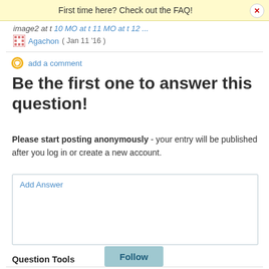First time here? Check out the FAQ!
image2 at t 10 MO at t 11 MO at t 12 ...
Agachon ( Jan 11 '16 )
add a comment
Be the first one to answer this question!
Please start posting anonymously - your entry will be published after you log in or create a new account.
Add Answer
Question Tools
Follow